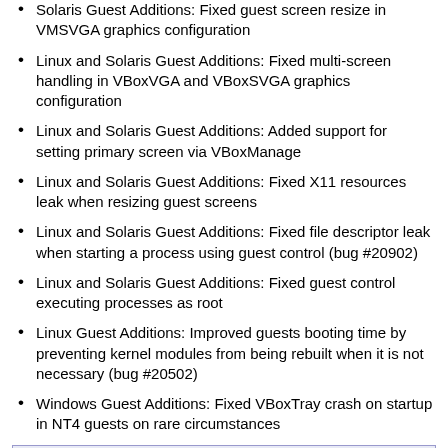Solaris Guest Additions: Fixed guest screen resize in VMSVGA graphics configuration
Linux and Solaris Guest Additions: Fixed multi-screen handling in VBoxVGA and VBoxSVGA graphics configuration
Linux and Solaris Guest Additions: Added support for setting primary screen via VBoxManage
Linux and Solaris Guest Additions: Fixed X11 resources leak when resizing guest screens
Linux and Solaris Guest Additions: Fixed file descriptor leak when starting a process using guest control (bug #20902)
Linux and Solaris Guest Additions: Fixed guest control executing processes as root
Linux Guest Additions: Improved guests booting time by preventing kernel modules from being rebuilt when it is not necessary (bug #20502)
Windows Guest Additions: Fixed VBoxTray crash on startup in NT4 guests on rare circumstances
15.3. Version 6.1.34 (2022-03-22)
This is a maintenance release. The following items were fixed and/or added:
VMM: Fix instruction emulation for "cmpxchg16b"